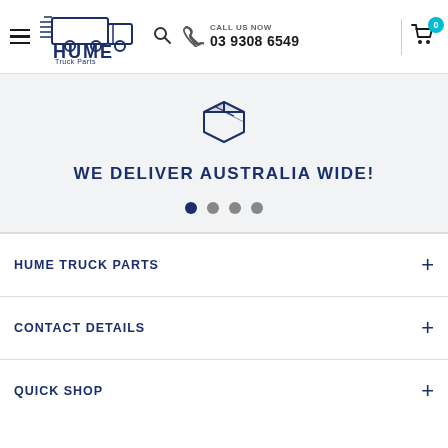[Figure (logo): Hume Truck Parts logo with truck illustration and text]
CALL US NOW
03 9308 6549
[Figure (illustration): Box/package icon in dark blue outline style]
WE DELIVER AUSTRALIA WIDE!
HUME TRUCK PARTS
CONTACT DETAILS
QUICK SHOP